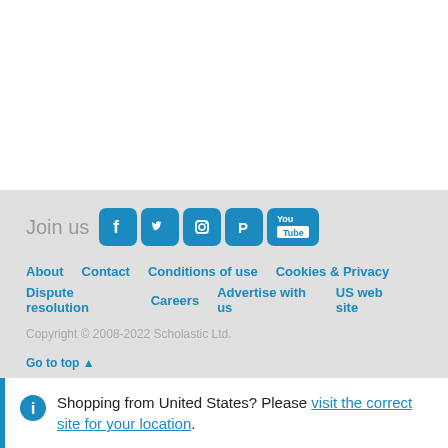[Figure (other): Social media icons row with Join us label: Facebook, Twitter, Instagram, Pinterest, YouTube]
About  Contact  Conditions of use  Cookies & Privacy
Dispute resolution  Careers  Advertise with us  US web site
Copyright © 2008-2022 Scholastic Ltd.
Go to top ▲
Shopping from United States? Please visit the correct site for your location.